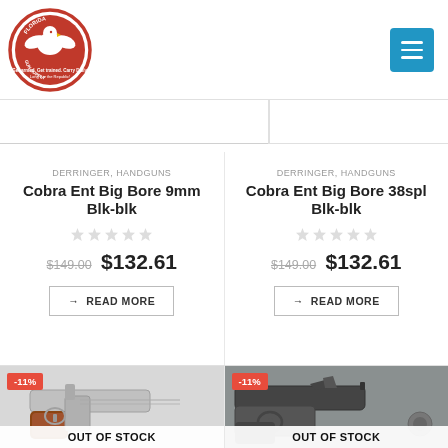[Figure (logo): Florida Gun Supply circular logo with red border, eagle graphic, and tagline text]
[Figure (other): Blue hamburger menu button with three horizontal white lines]
DERRINGER, HANDGUNS
Cobra Ent Big Bore 9mm Blk-blk
$149.00  $132.61
→ READ MORE
DERRINGER, HANDGUNS
Cobra Ent Big Bore 38spl Blk-blk
$149.00  $132.61
→ READ MORE
[Figure (photo): Silver/chrome derringer handgun with wooden grip, -11% badge, OUT OF STOCK overlay]
[Figure (photo): Dark grey/black derringer handgun, -11% badge, OUT OF STOCK overlay]